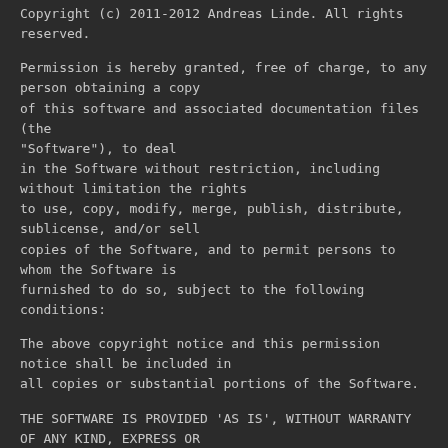Copyright (c) 2011-2012 Andreas Linde. All rights reserved.
Permission is hereby granted, free of charge, to any person obtaining a copy
of this software and associated documentation files (the
"Software"), to deal
in the Software without restriction, including without limitation the rights
to use, copy, modify, merge, publish, distribute, sublicense, and/or sell
copies of the Software, and to permit persons to whom the Software is
furnished to do so, subject to the following conditions:
The above copyright notice and this permission notice shall be included in
all copies or substantial portions of the Software.
THE SOFTWARE IS PROVIDED 'AS IS', WITHOUT WARRANTY OF ANY KIND, EXPRESS OR
IMPLIED, INCLUDING BUT NOT LIMITED TO THE WARRANTIES OF MERCHANTABILITY,
FITNESS FOR A PARTICULAR PURPOSE AND